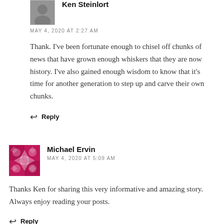[Figure (photo): Small avatar image of Ken Steinlort, grayscale photo]
Ken Steinlort
MAY 4, 2020 AT 2:27 AM
Thank. I've been fortunate enough to chisel off chunks of news that have grown enough whiskers that they are now history. I've also gained enough wisdom to know that it's time for another generation to step up and carve their own chunks.
Reply
[Figure (illustration): Avatar image of Michael Ervin, pink/red geometric pattern]
Michael Ervin
MAY 4, 2020 AT 5:09 AM
Thanks Ken for sharing this very informative and amazing story. Always enjoy reading your posts.
Reply